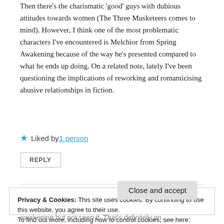Then there's the charismatic 'good' guys with dubious attitudes towards women (The Three Musketeers comes to mind). However, I think one of the most problematic characters I've encountered is Melchior from Spring Awakening because of the way he's presented compared to what he ends up doing. On a related note, lately I've been questioning the implications of reworking and romanticising abusive relationships in fiction.
★ Liked by 1 person
REPLY
Privacy & Cookies: This site uses cookies. By continuing to use this website, you agree to their use.
To find out more, including how to control cookies, see here: Cookie Policy
Close and accept
awakening but not seen it. That's definitely an